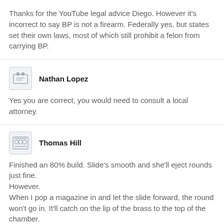Thanks for the YouTube legal advice Diego. However it's incorrect to say BP is not a firearm. Federally yes, but states set their own laws, most of which still prohibit a felon from carrying BP.
Nathan Lopez
Yes you are correct, you would need to consult a local attorney.
Thomas Hill
Finished an 80% build. Slide's smooth and she'll eject rounds just fine.
However.
When I pop a magazine in and let the slide forward, the round won't go in. It'll catch on the lip of the brass to the top of the chamber.
Thoughts? Just get a new (nicer) barrel?